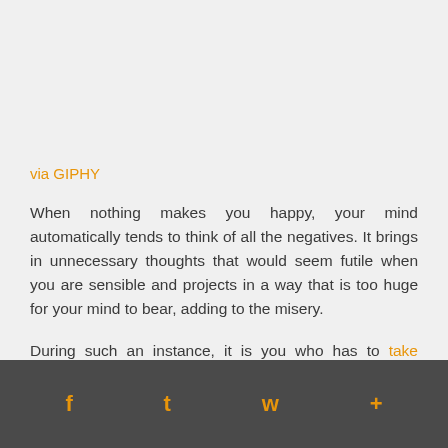via GIPHY
When nothing makes you happy, your mind automatically tends to think of all the negatives. It brings in unnecessary thoughts that would seem futile when you are sensible and projects in a way that is too huge for your mind to bear, adding to the misery.
During such an instance, it is you who has to take charge of the mind and put an end to paranoia. You have to work on psychological levels to stop thinking negative and ruining your day. If it's a career related problem, stop thinking about a colleague getting promoted, though you deserved it.
Social share icons: Facebook, Twitter, WhatsApp, Add